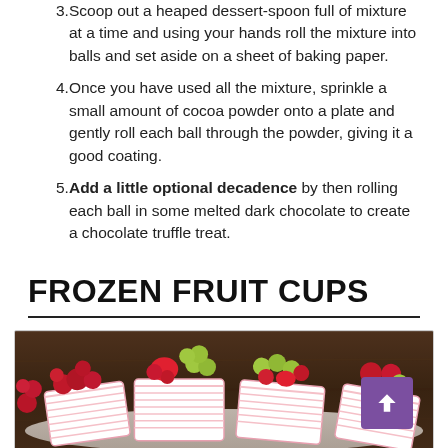3. Scoop out a heaped dessert-spoon full of mixture at a time and using your hands roll the mixture into balls and set aside on a sheet of baking paper.
4. Once you have used all the mixture, sprinkle a small amount of cocoa powder onto a plate and gently roll each ball through the powder, giving it a good coating.
5. Add a little optional decadence by then rolling each ball in some melted dark chocolate to create a chocolate truffle treat.
FROZEN FRUIT CUPS
[Figure (photo): Photo of frozen fruit cups: pink/white striped cupcake liners filled with fresh fruit including raspberries, strawberries, and grapes, arranged on a white plate on a dark wooden surface.]